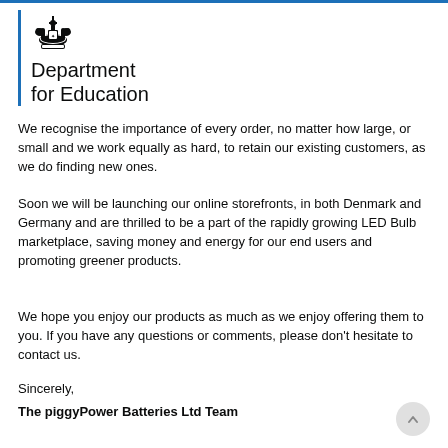[Figure (logo): UK Government Department for Education logo with royal crest and blue vertical bar]
Department for Education
We recognise the importance of every order, no matter how large, or small and we work equally as hard, to retain our existing customers, as we do finding new ones.
Soon we will be launching our online storefronts, in both Denmark and Germany and are thrilled to be a part of the rapidly growing LED Bulb marketplace, saving money and energy for our end users and promoting greener products.
We hope you enjoy our products as much as we enjoy offering them to you. If you have any questions or comments, please don't hesitate to contact us.
Sincerely,
The piggyPower Batteries Ltd Team